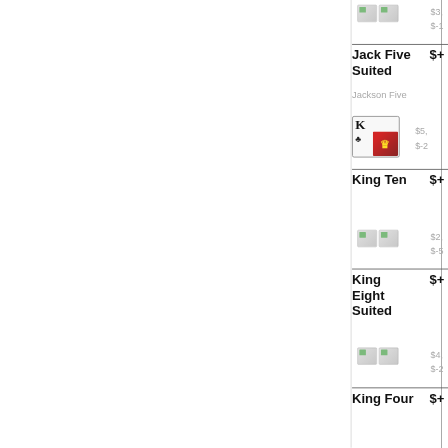[Figure (illustration): Two small card placeholder images with green corner icons, clipped at right edge. Stats: $3,... and $-1... shown in gray.]
$3,... $-1...
Jack Five Suited $+...
Jackson Five
[Figure (illustration): Playing card image showing King of Clubs (K♣) overlaid with a face card, in a bordered card frame.]
$5,... $-2...
King Ten $+...
[Figure (illustration): Two small card placeholder images with green corner icons.]
$2,... $-5...
King Eight Suited $+...
[Figure (illustration): Two small card placeholder images with green corner icons.]
$4,... $-2...
King Four $+...